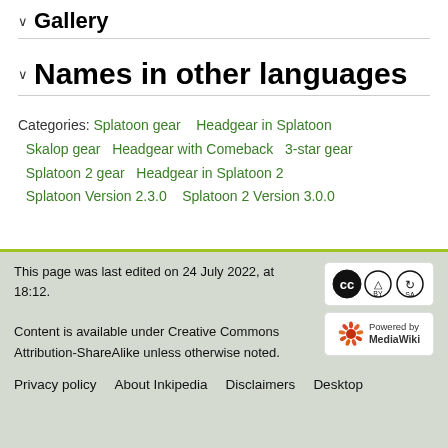Gallery
Names in other languages
Categories: Splatoon gear  Headgear in Splatoon  Skalop gear  Headgear with Comeback  3-star gear  Splatoon 2 gear  Headgear in Splatoon 2  Splatoon Version 2.3.0  Splatoon 2 Version 3.0.0
This page was last edited on 24 July 2022, at 18:12.
Content is available under Creative Commons Attribution-ShareAlike unless otherwise noted.
Privacy policy  About Inkipedia  Disclaimers  Desktop